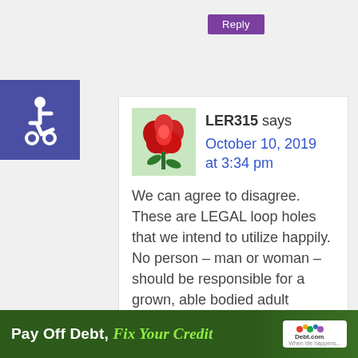[Figure (illustration): Purple/blue square with white wheelchair accessibility icon]
Reply
[Figure (photo): Avatar thumbnail of a red rose flower]
LER315 says
October 10, 2019 at 3:34 pm
We can agree to disagree. These are LEGAL loop holes that we intend to utilize happily. No person – man or woman – should be responsible for a grown, able bodied adult forever. Even child
[Figure (infographic): Green ad banner: Pay Off Debt, Fix Your Credit — Debt.com When life happens...]